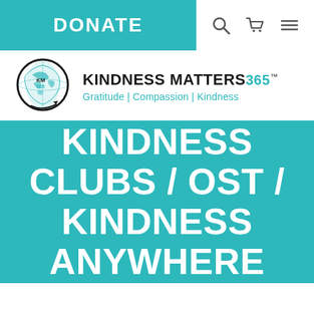DONATE
[Figure (logo): Kindness Matters 365 logo with globe icon and KM365 text, tagline: Gratitude | Compassion | Kindness]
KINDNESS CLUBS / OST / KINDNESS ANYWHERE